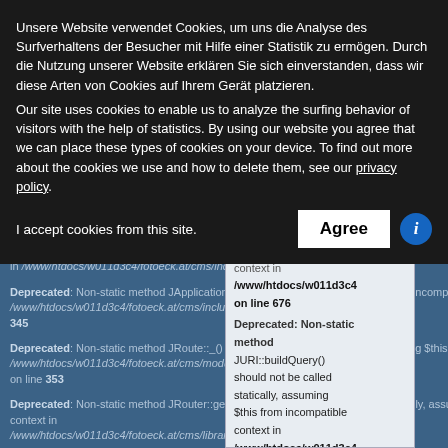Unsere Website verwendet Cookies, um uns die Analyse des Surfverhaltens der Besucher mit Hilfe einer Statistik zu ermöglichen. Durch die Nutzung unserer Website erklären Sie sich einverstanden, dass wir diese Arten von Cookies auf Ihrem Gerät platzieren.
Our site uses cookies to enable us to analyze the surfing behavior of visitors with the help of statistics. By using our website you agree that we can place these types of cookies on your device. To find out more about the cookies we use and how to delete them, see our privacy policy.
I accept cookies from this site.
Deprecated: Non-static method JSite::getMenu() should not be called statically, assuming $this from incompatible context in /www/htdocs/w011d3c4/fotoeck.at/cms/includes/... on line 676
Deprecated: Non-static method JApplication::getMenu() should not be called from incompatible context in /www/htdocs/w011d3c4/fotoeck.at/cms/includ... 345
Deprecated: Non-static method JRoute::_() should not be called statically, assuming $this from incompatible context in /www/htdocs/w011d3c4/fotoeck.at/cms/modules/... on line 353
Deprecated: Non-static method JRouter::getInstance() should not be called statically, assuming $this from incompatible context in /www/htdocs/w011d3c4/fotoeck.at/cms/libraries/joomla/application...
[Figure (screenshot): Popup tooltip showing: $this from incompatible context in /www/htdocs/w011d3c4 on line 676, then Deprecated: Non-static method JURI::buildQuery() should not be called statically, assuming $this from incompatible context in /www/htdocs/w011d3c4 on line 374]